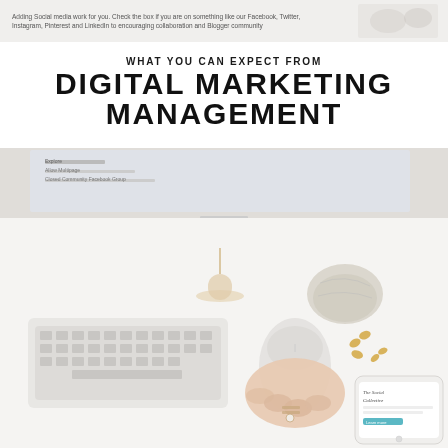Adding Social Media work for you. Check the box if you are on something like Facebook, Twitter, Instagram, Pinterest and LinkedIn to encouraging participation and longer community
WHAT YOU CAN EXPECT FROM DIGITAL MARKETING MANAGEMENT
[Figure (photo): Overhead desk flatlay showing an iMac monitor displaying a Facebook page, Apple keyboard, Magic Mouse with woman's hand, a pendant necklace, decorative stone/crystal, small gold butterfly clips, and a smartphone showing 'The Social Collective' app/website on a white desk surface.]